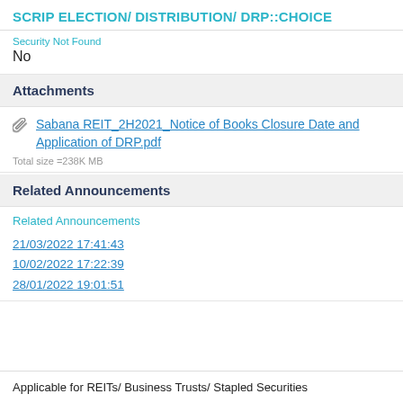SCRIP ELECTION/ DISTRIBUTION/ DRP::CHOICE
Security Not Found
No
Attachments
Sabana REIT_2H2021_Notice of Books Closure Date and Application of DRP.pdf
Total size =238K MB
Related Announcements
Related Announcements
21/03/2022 17:41:43
10/02/2022 17:22:39
28/01/2022 19:01:51
Applicable for REITs/ Business Trusts/ Stapled Securities